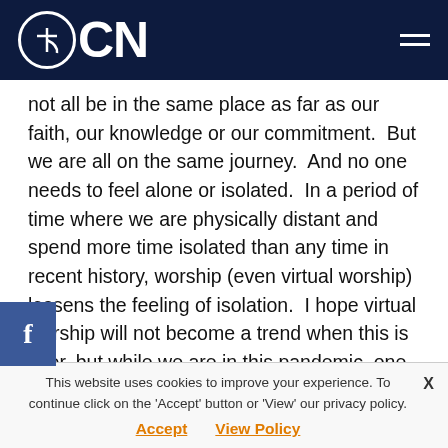OCN
not all be in the same place as far as our faith, our knowledge or our commitment.  But we are all on the same journey.  And no one needs to feel alone or isolated.  In a period of time where we are physically distant and spend more time isolated than any time in recent history, worship (even virtual worship) lessens the feeling of isolation.  I hope virtual worship will not become a trend when this is over, but while we are in this pandemic, one shouldn't feel isolated in virtual worship, because in the prayers of the service, the priest is praying for all those who have gathered.  And since that number is always greater than
This website uses cookies to improve your experience. To continue click on the 'Accept' button or 'View' our privacy policy.
Accept   View Policy